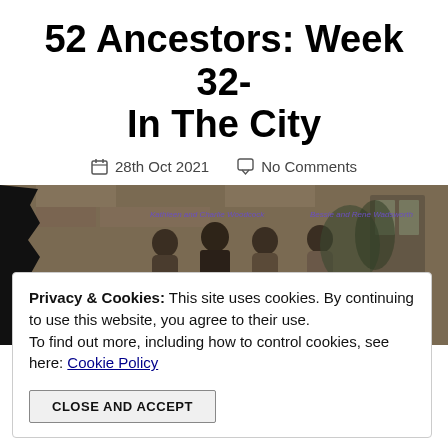52 Ancestors: Week 32- In The City
28th Oct 2021   No Comments
[Figure (photo): Sepia family group photograph outdoors with stone wall background. Labels read 'Kathleen and Charlie Woodcock' and 'Bessie and Rene Wadsworth'. Several adults standing together.]
Privacy & Cookies: This site uses cookies. By continuing to use this website, you agree to their use.
To find out more, including how to control cookies, see here: Cookie Policy

CLOSE AND ACCEPT